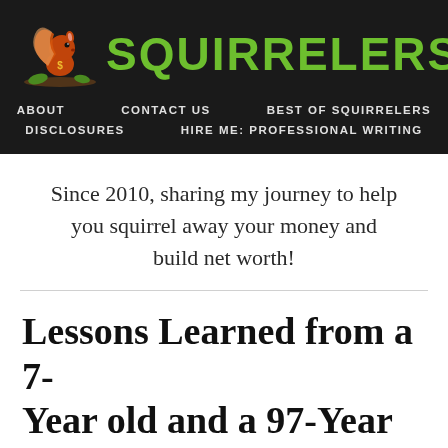[Figure (logo): Squirrelers logo with orange squirrel on a branch and green bold text SQUIRRELERS]
ABOUT   CONTACT US   BEST OF SQUIRRELERS   DISCLOSURES   HIRE ME: PROFESSIONAL WRITING
Since 2010, sharing my journey to help you squirrel away your money and build net worth!
Lessons Learned from a 7-Year old and a 97-Year old